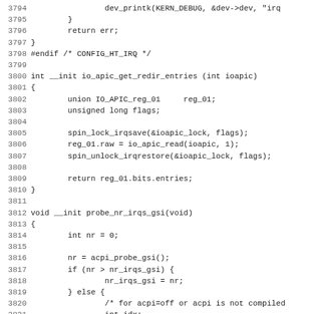[Figure (screenshot): Source code listing showing C kernel code for io_apic functions, lines 3794-3826, including io_apic_get_redir_entries and probe_nr_irqs_gsi functions]